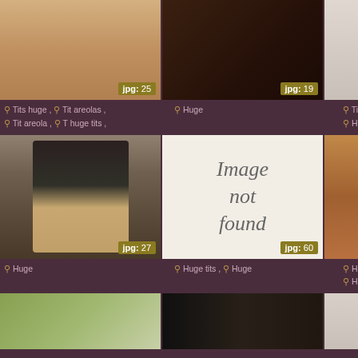[Figure (photo): Cropped photo with skin tone, top-left cell]
[Figure (photo): Dark close-up photo, top-middle cell]
[Figure (photo): Partially visible photo, top-right cell]
Tits huge , Tit areolas , Tit areola , T huge tits ,
Huge
Tits Hug
[Figure (photo): Woman in black lingerie and fishnet stockings]
[Figure (photo): Image not found placeholder]
[Figure (photo): Partially visible photo, middle-right cell]
Huge
Huge tits , Huge
Hug Hair
[Figure (photo): Outdoor photo, bottom-left cell]
[Figure (photo): Dark indoor photo, bottom-middle cell]
[Figure (photo): Partially visible photo, bottom-right cell]